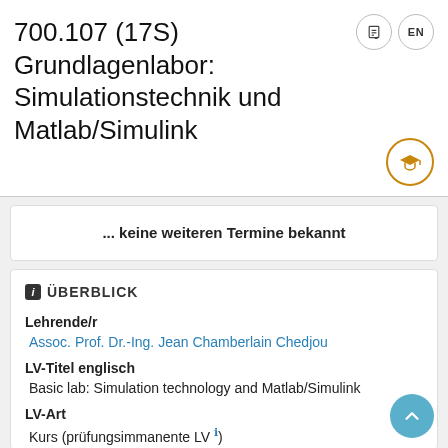700.107 (17S) Grundlagenlabor: Simulationstechnik und Matlab/Simulink
... keine weiteren Termine bekannt
ℹ ÜBERBLICK
Lehrende/r
Assoc. Prof. Dr.-Ing. Jean Chamberlain Chedjou
LV-Titel englisch
Basic lab: Simulation technology and Matlab/Simulink
LV-Art
Kurs (prüfungsimmanente LV ℹ )